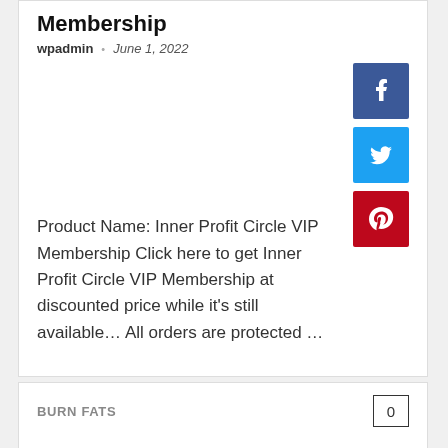Membership
wpadmin · June 1, 2022
[Figure (infographic): Three social sharing buttons stacked vertically: Facebook (blue), Twitter (light blue), Pinterest (red), each with white icon on colored square background]
Product Name: Inner Profit Circle VIP Membership Click here to get Inner Profit Circle VIP Membership at discounted price while it's still available... All orders are protected ...
BURN FATS